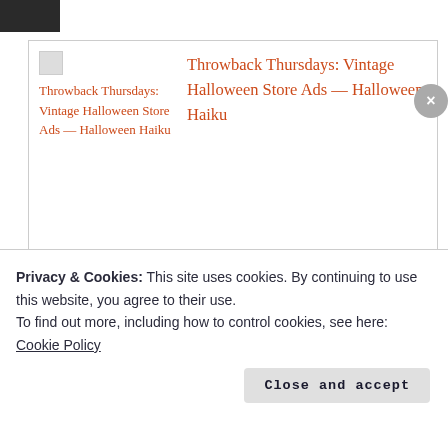[Figure (photo): Small dark thumbnail image at top left corner]
[Figure (screenshot): Blog post card with thumbnail image placeholder on left and title link on right]
Throwback Thursdays: Vintage Halloween Store Ads — Halloween Haiku
Privacy & Cookies: This site uses cookies. By continuing to use this website, you agree to their use.
To find out more, including how to control cookies, see here:
Cookie Policy
Close and accept